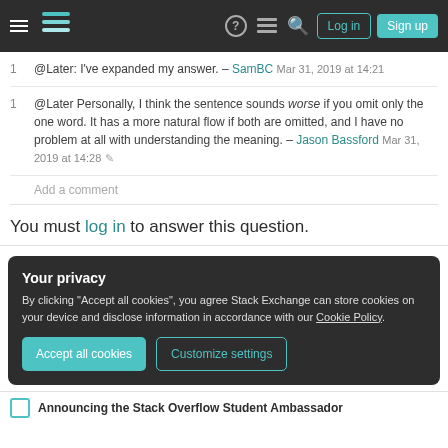Stack Exchange navigation header with Log in and Sign up buttons
@Later: I've expanded my answer. – SamBC Mar 31, 2019 at 14:21
@Later Personally, I think the sentence sounds worse if you omit only the one word. It has a more natural flow if both are omitted, and I have no problem at all with understanding the meaning. – Jason Bassford Mar 31, 2019 at 14:28
Add a comment
You must log in to answer this question.
Your privacy
By clicking "Accept all cookies", you agree Stack Exchange can store cookies on your device and disclose information in accordance with our Cookie Policy.
Announcing the Stack Overflow Student Ambassador